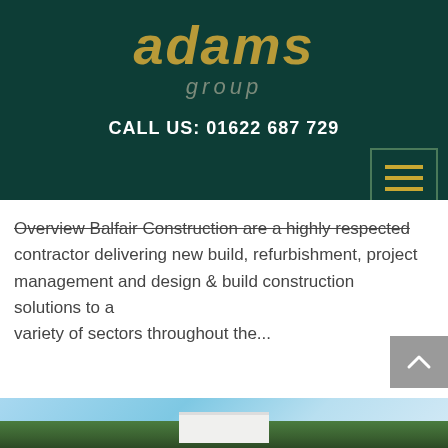adams group
CALL US: 01622 687 729
Overview Balfair Construction are a highly respected contractor delivering new build, refurbishment, project management and design & build construction solutions to a variety of sectors throughout the...
[Figure (photo): Exterior photo of a white building surrounded by green trees under a blue sky with clouds]